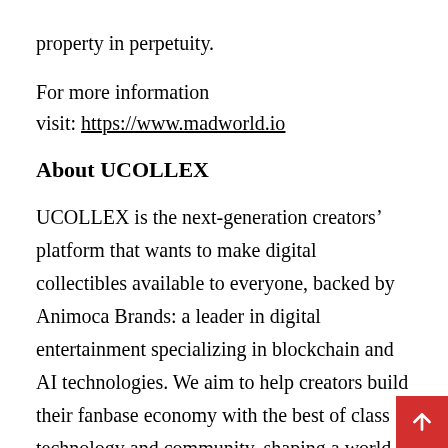property in perpetuity.
For more information
visit: https://www.madworld.io
About UCOLLEX
UCOLLEX is the next-generation creators’ platform that wants to make digital collectibles available to everyone, backed by Animoca Brands: a leader in digital entertainment specializing in blockchain and AI technologies. We aim to help creators build their fanbase economy with the best of class technology and community, shaping a world where fans can engage with the creator’s metaverse. UCOLLEX